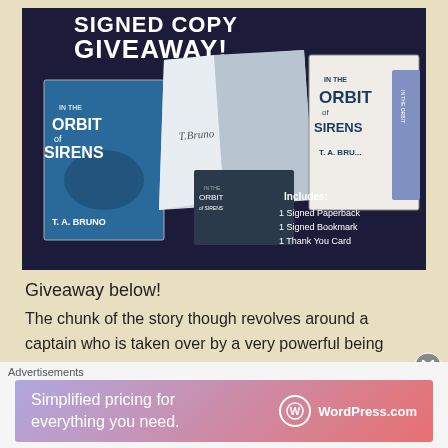[Figure (photo): Photo of signed copy giveaway for 'In the Orbit of Sirens' by T. A. Bruno. Shows multiple book copies (paperback, hardcover, and small format), a signed bookmark, and a card. Text overlay reads: 'SIGNED COPY GIVEAWAY!' and 'Includes: 1 Signed Paperback, 1 Signed Bookmark, 1 Thank You Card']
Giveaway below!
The chunk of the story though revolves around a captain who is taken over by a very powerful being
Advertisements
[Figure (screenshot): WordPress.com advertisement banner: 'Simplified pricing for everything you need.' with WordPress.com logo on right side. Gradient background from purple to pink/red.]